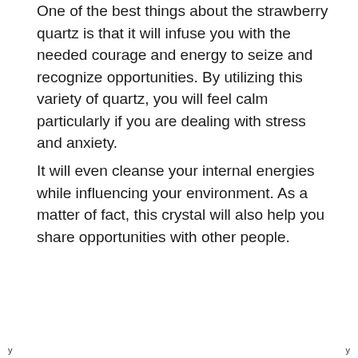One of the best things about the strawberry quartz is that it will infuse you with the needed courage and energy to seize and recognize opportunities. By utilizing this variety of quartz, you will feel calm particularly if you are dealing with stress and anxiety.
It will even cleanse your internal energies while influencing your environment. As a matter of fact, this crystal will also help you share opportunities with other people.
y                                         y